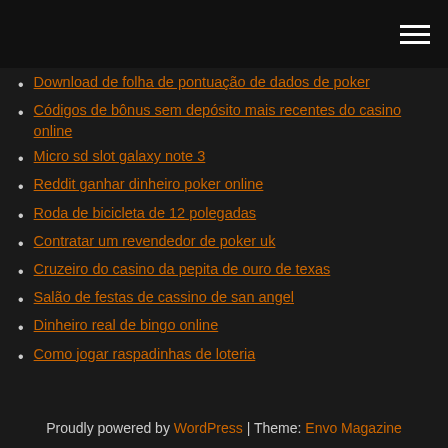Download de folha de pontuação de dados de poker
Códigos de bônus sem depósito mais recentes do casino online
Micro sd slot galaxy note 3
Reddit ganhar dinheiro poker online
Roda de bicicleta de 12 polegadas
Contratar um revendedor de poker uk
Cruzeiro do casino da pepita de ouro de texas
Salão de festas de cassino de san angel
Dinheiro real de bingo online
Como jogar raspadinhas de loteria
Proudly powered by WordPress | Theme: Envo Magazine